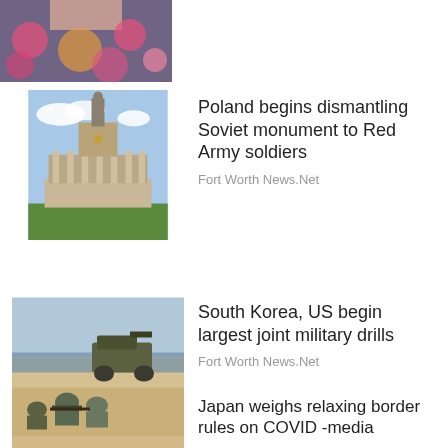[Figure (photo): Partial view of a person wearing a floral dress, cropped at top of page]
[Figure (photo): Soviet war memorial with large statue on pedestal and columned structure]
Poland begins dismantling Soviet monument to Red Army soldiers
Fort Worth News.Net
[Figure (photo): Military soldiers in camouflage gear with weapons, armored vehicle in background on beach]
South Korea, US begin largest joint military drills
Fort Worth News.Net
[Figure (photo): Japanese sign reading COVID-19 指定地域 滞在歴あり on beige background]
Japan weighs relaxing border rules on COVID -media